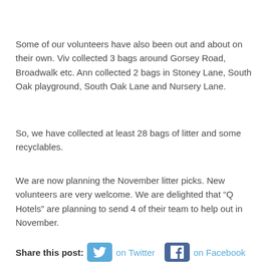Some of our volunteers have also been out and about on their own.  Viv collected 3 bags around Gorsey Road, Broadwalk etc.  Ann collected 2 bags in Stoney Lane, South Oak playground, South Oak Lane and Nursery Lane.
So, we have collected at least 28 bags of litter and some recyclables.
We are now planning the November litter picks.  New volunteers are very welcome. We are delighted that “Q Hotels” are planning to send 4 of their team to help out in November.
Share this post:  on Twitter  on Facebook